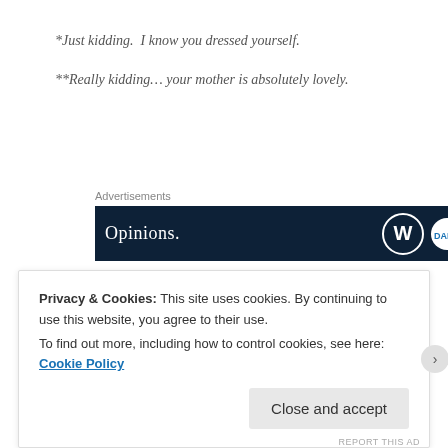*Just kidding.  I know you dressed yourself.
**Really kidding… your mother is absolutely lovely.
Advertisements
[Figure (other): Advertisement banner with dark navy background showing 'Opinions.' text and WordPress/other platform logos]
Privacy & Cookies: This site uses cookies. By continuing to use this website, you agree to their use.
To find out more, including how to control cookies, see here: Cookie Policy
Close and accept